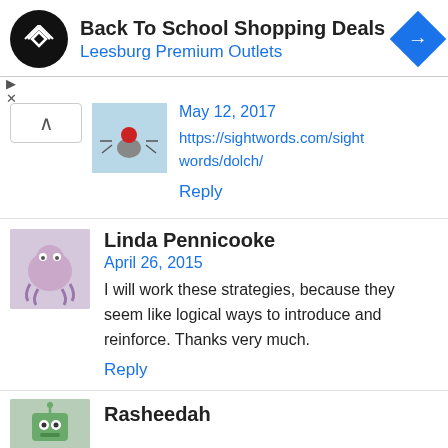[Figure (screenshot): Ad banner: Back To School Shopping Deals at Leesburg Premium Outlets with logo and navigation arrow icon]
May 12, 2017
https://sightwords.com/sightwords/dolch/
Reply
Linda Pennicooke
April 26, 2015
I will work these strategies, because they seem like logical ways to introduce and reinforce. Thanks very much.
Reply
Rasheedah